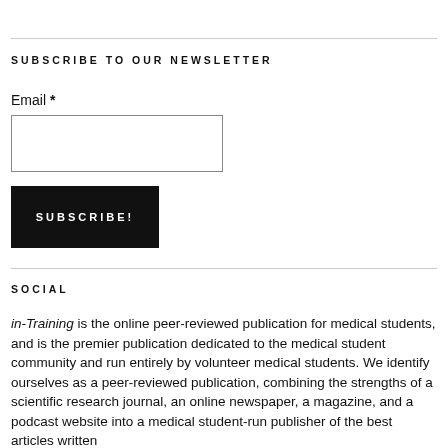SUBSCRIBE TO OUR NEWSLETTER
Email *
SUBSCRIBE!
SOCIAL
in-Training is the online peer-reviewed publication for medical students, and is the premier publication dedicated to the medical student community and run entirely by volunteer medical students. We identify ourselves as a peer-reviewed publication, combining the strengths of a scientific research journal, an online newspaper, a magazine, and a podcast website into a medical student-run publisher of the best articles written